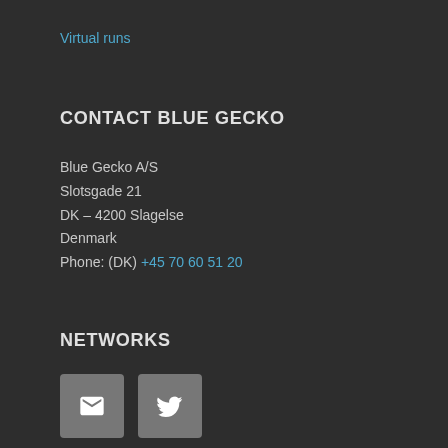Virtual runs
CONTACT BLUE GECKO
Blue Gecko A/S
Slotsgade 21
DK – 4200 Slagelse
Denmark
Phone: (DK) +45 70 60 51 20
NETWORKS
[Figure (infographic): Two social media icon buttons: an envelope/email icon and a Twitter bird icon, both on grey rounded square backgrounds]